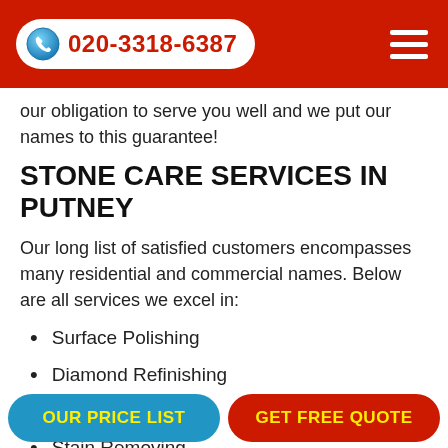020-3318-6387
our obligation to serve you well and we put our names to this guarantee!
STONE CARE SERVICES IN PUTNEY
Our long list of satisfied customers encompasses many residential and commercial names. Below are all services we excel in:
Surface Polishing
Diamond Refinishing
Honing
Stain Removing
Sealing
OUR PRICE LIST | GET FREE QUOTE